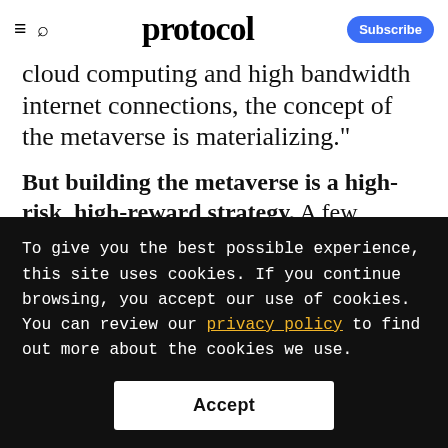protocol
cloud computing and high bandwidth internet connections, the concept of the metaverse is materializing."
But building the metaverse is a high-risk, high-reward strategy. A few selections from Roblox's Risk Factors:
To give you the best possible experience, this site uses cookies. If you continue browsing, you accept our use of cookies. You can review our privacy policy to find out more about the cookies we use.
Accept